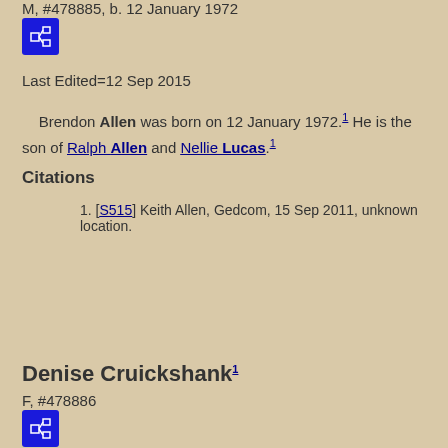M, #478885, b. 12 January 1972
[Figure (other): Blue icon button with network/relationship diagram symbol]
Last Edited=12 Sep 2015
Brendon Allen was born on 12 January 1972.1 He is the son of Ralph Allen and Nellie Lucas.1
Citations
1. [S515] Keith Allen, Gedcom, 15 Sep 2011, unknown location.
Denise Cruickshank1
F, #478886
[Figure (other): Blue icon button with network/relationship diagram symbol]